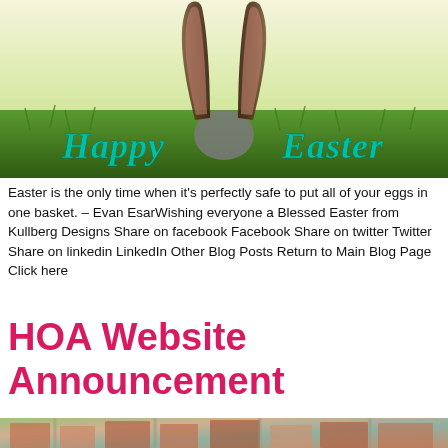[Figure (photo): Easter-themed photo showing rabbit ears above green grass with 'Happy Easter' text in teal/green decorative font overlaid on the image]
Easter is the only time when it's perfectly safe to put all of your eggs in one basket. – Evan EsarWishing everyone a Blessed Easter from Kullberg Designs Share on facebook Facebook Share on twitter Twitter Share on linkedin LinkedIn Other Blog Posts Return to Main Blog Page Click here
HOA Website Announcement
[Figure (photo): Aerial view of a residential neighborhood showing rooftops and streets from above]